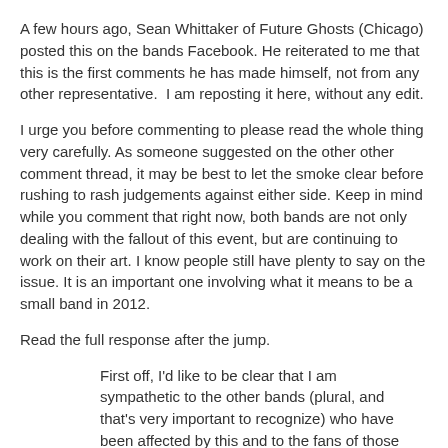A few hours ago, Sean Whittaker of Future Ghosts (Chicago) posted this on the bands Facebook. He reiterated to me that this is the first comments he has made himself, not from any other representative.  I am reposting it here, without any edit.
I urge you before commenting to please read the whole thing very carefully. As someone suggested on the other other comment thread, it may be best to let the smoke clear before rushing to rash judgements against either side. Keep in mind while you comment that right now, both bands are not only dealing with the fallout of this event, but are continuing to work on their art. I know people still have plenty to say on the issue. It is an important one involving what it means to be a small band in 2012.
Read the full response after the jump.
First off, I'd like to be clear that I am sympathetic to the other bands (plural, and that's very important to recognize) who have been affected by this and to the fans of those bands that have...